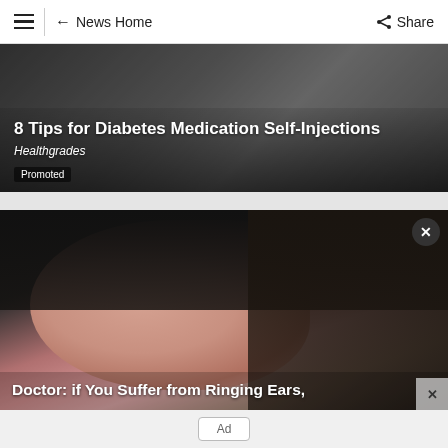News Home | Share
[Figure (photo): Close-up image of a person self-injecting medication, dark background. Overlaid text reads '8 Tips for Diabetes Medication Self-Injections' and 'Healthgrades'. Badge reads 'Promoted'.]
8 Tips for Diabetes Medication Self-Injections
Healthgrades
Promoted
[Figure (photo): Close-up photo of a human ear with reddish coloring, finger touching it, dark hair in background. Overlaid text at bottom reads 'Doctor: if You Suffer from Ringing Ears,']
Doctor: if You Suffer from Ringing Ears,
Ad